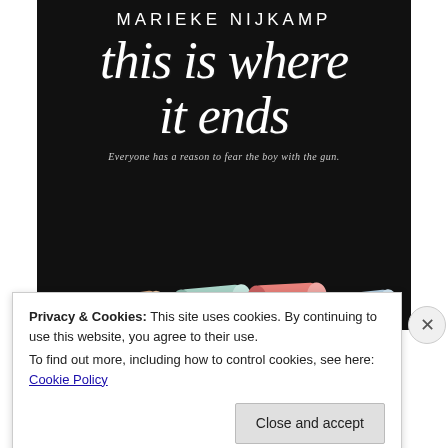[Figure (illustration): Book cover for 'This Is Where It Ends' by Marieke Nijkamp. Dark/black background with author name at top in white spaced capitals, large handwritten-style chalk italic title text, tagline 'Everyone has a reason to fear the boy with the gun.' in small italic text, and colorful chalk pieces (peach/tan, mint green, pink, light blue) scattered at the bottom.]
Privacy & Cookies: This site uses cookies. By continuing to use this website, you agree to their use.
To find out more, including how to control cookies, see here: Cookie Policy
Close and accept